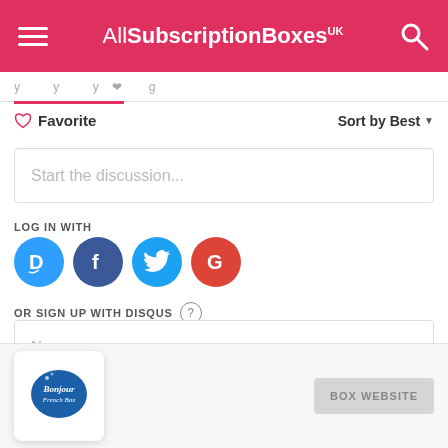AllSubscriptionBoxes UK
Favorite   Sort by Best
Start the discussion...
LOG IN WITH
[Figure (logo): Social login icons: Disqus (D), Facebook (f), Twitter bird, Google (G)]
OR SIGN UP WITH DISQUS
Name
[Figure (logo): Bonjour French Box logo — blue speech bubble with cursive text]